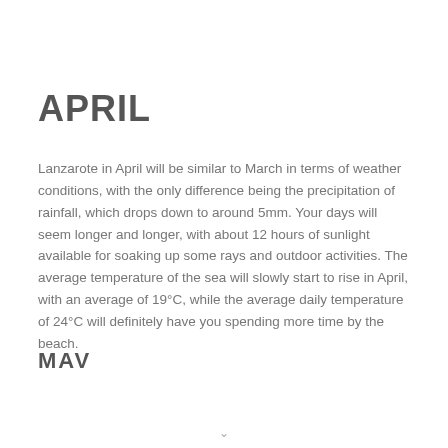APRIL
Lanzarote in April will be similar to March in terms of weather conditions, with the only difference being the precipitation of rainfall, which drops down to around 5mm. Your days will seem longer and longer, with about 12 hours of sunlight available for soaking up some rays and outdoor activities. The average temperature of the sea will slowly start to rise in April, with an average of 19°C, while the average daily temperature of 24°C will definitely have you spending more time by the beach.
[Figure (logo): MAV logo in bold sans-serif text]